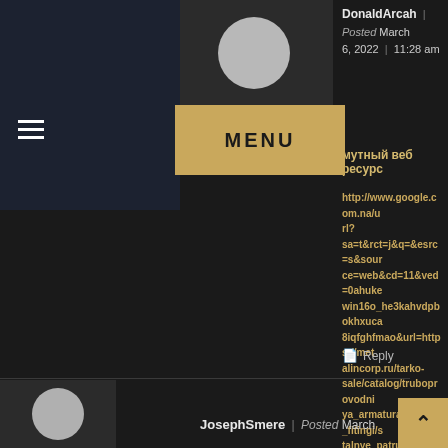DonaldArcah | Posted March 6, 2022 | 11:28 am
мутный веб ресурс
http://www.google.com.na/url?sa=t&rct=j&q=&esrc=s&source=web&cd=11&ved=0ahukewin16o_he3kahvdpbokhxuca8iqfghfmao&url=https://metalincorp.ru/tarko-sale/catalog/truboprovodnaya_armatura/stalnye_fitingi/stalnye_patrubki/rezbovoy_patrubok/
Reply
JosephSmere | Posted March